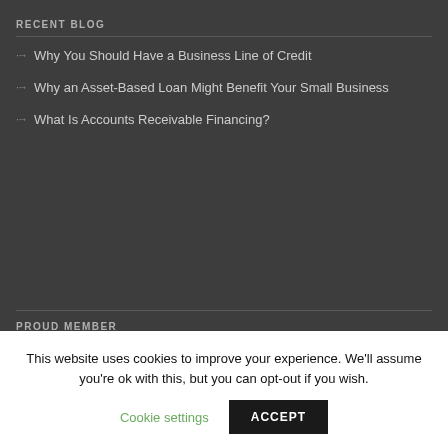RECENT BLOG
Why You Should Have a Business Line of Credit
Why an Asset-Based Loan Might Benefit Your Small Business
What Is Accounts Receivable Financing?
PROUD MEMBER
This website uses cookies to improve your experience. We'll assume you're ok with this, but you can opt-out if you wish.
Cookie settings
ACCEPT